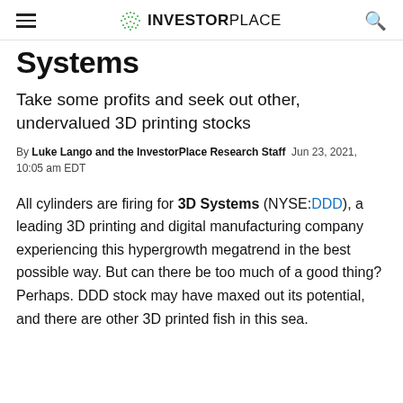INVESTORPLACE
Systems
Take some profits and seek out other, undervalued 3D printing stocks
By Luke Lango and the InvestorPlace Research Staff  Jun 23, 2021, 10:05 am EDT
All cylinders are firing for 3D Systems (NYSE:DDD), a leading 3D printing and digital manufacturing company experiencing this hypergrowth megatrend in the best possible way. But can there be too much of a good thing? Perhaps. DDD stock may have maxed out its potential, and there are other 3D printed fish in this sea.